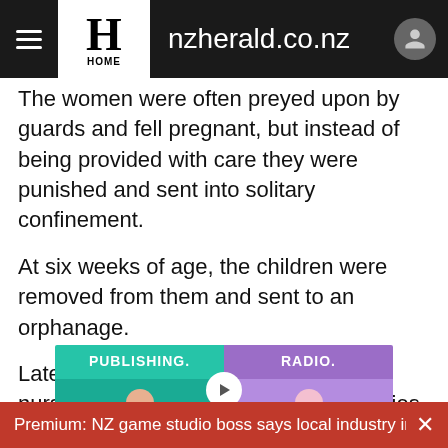nzherald.co.nz
The women were often preyed upon by guards and fell pregnant, but instead of being provided with care they were punished and sent into solitary confinement.
At six weeks of age, the children were removed from them and sent to an orphanage.
Later the factory established its own nursery but it's unknown how may babies died in the harsh, cold conditions as records were never kept.
ADVERTISEMENT
[Figure (screenshot): Advertisement banner with two panels: left panel teal/green with text PUBLISHING., right panel purple with text RADIO., showing partial images of people]
Premium: NZ game studio boss says local industry in 'exi